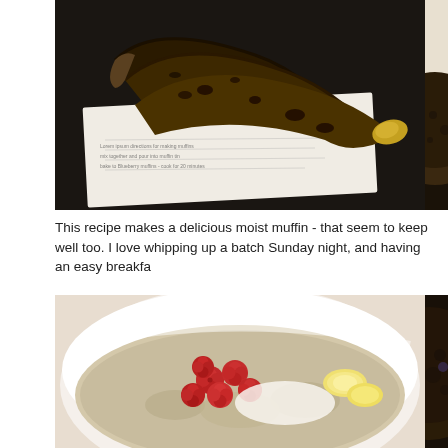[Figure (photo): Photo of very ripe, darkly spotted bananas resting on a white piece of paper with printed text, against a dark background]
[Figure (photo): Partial cropped photo on right side showing muffin or baked good on dark background]
This recipe makes a delicious moist muffin - that seem to keep well too. I love whipping up a batch Sunday night, and having an easy breakfa
[Figure (photo): Photo of a white bowl containing oat batter mixture with fresh red raspberries and sliced bananas]
[Figure (photo): Partial cropped photo on right side showing dark muffin on dark background]